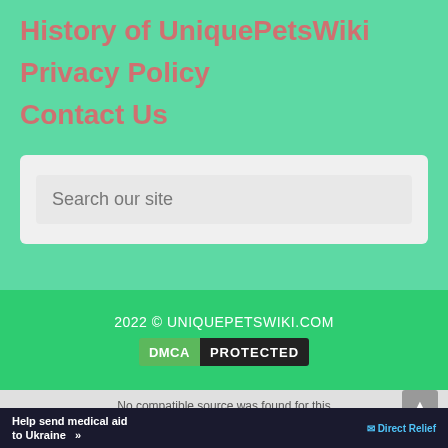History of UniquePetsWiki
Privacy Policy
Contact Us
Search  our site
2022 © UNIQUEPETSWIKI.COM
[Figure (logo): DMCA PROTECTED badge with green DMCA label on left and dark PROTECTED label on right]
No compatible source was found for this
[Figure (infographic): Help send medical aid to Ukraine >> Direct Relief advertisement banner]